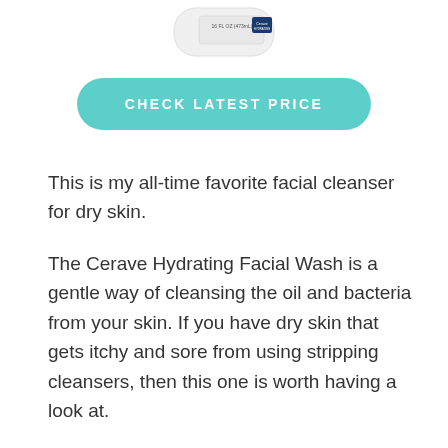[Figure (photo): Partial view of a CeraVe Hydrating Facial Wash product bottle, white with label, cropped at top of page]
CHECK LATEST PRICE
This is my all-time favorite facial cleanser for dry skin.
The Cerave Hydrating Facial Wash is a gentle way of cleansing the oil and bacteria from your skin. If you have dry skin that gets itchy and sore from using stripping cleansers, then this one is worth having a look at.
This cleanser comes with hyaluronic acid, ceramides, and glycerin to help hydrate skin without stripping moisture. It provides intense